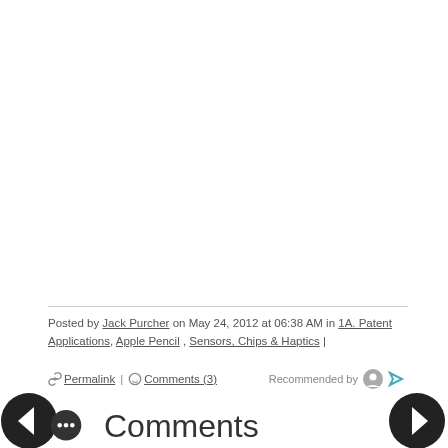Posted by Jack Purcher on May 24, 2012 at 06:38 AM in 1A. Patent Applications , Apple Pencil , Sensors, Chips & Haptics |
🔗 Permalink | 💬 Comments (3)    Recommended by [icons]
Comments